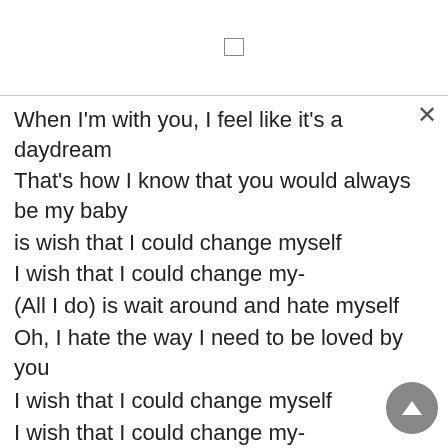When I'm with you, I feel like it's a daydream
That's how I know that you would always be my baby
is wish that I could change myself
I wish that I could change my-
(All I do) is wait around and hate myself
Oh, I hate the way I need to be loved by you
I wish that I could change myself
I wish that I could change my-
(All I do) is wait around and hate myself
Oh, I hate the way I need to be loved by you
I walked a thousand miles